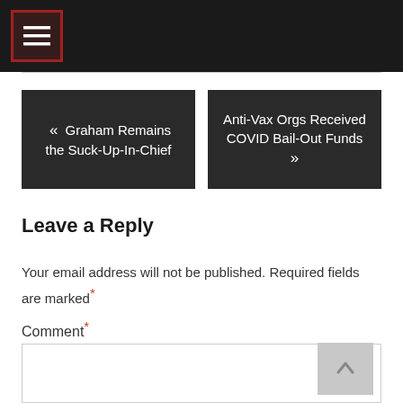Navigation menu icon header bar
« Graham Remains the Suck-Up-In-Chief
Anti-Vax Orgs Received COVID Bail-Out Funds »
Leave a Reply
Your email address will not be published. Required fields are marked *
Comment *